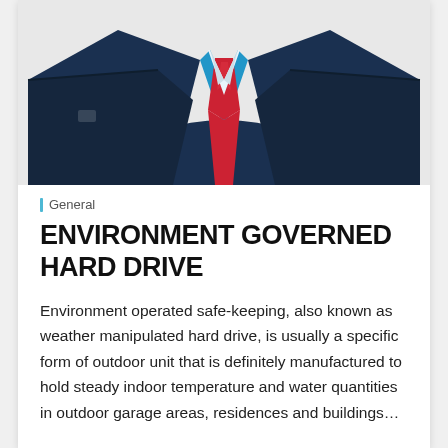[Figure (illustration): Illustrated torso of a person in a dark navy suit with a red tie and blue shirt, flat vector style, cropped at shoulders and waist]
General
ENVIRONMENT GOVERNED HARD DRIVE
Environment operated safe-keeping, also known as weather manipulated hard drive, is usually a specific form of outdoor unit that is definitely manufactured to hold steady indoor temperature and water quantities in outdoor garage areas, residences and buildings…